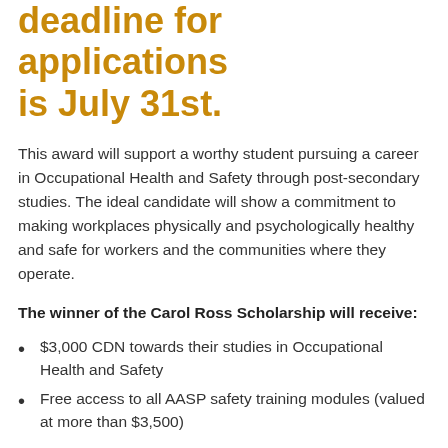deadline for applications is July 31st.
This award will support a worthy student pursuing a career in Occupational Health and Safety through post-secondary studies. The ideal candidate will show a commitment to making workplaces physically and psychologically healthy and safe for workers and the communities where they operate.
The winner of the Carol Ross Scholarship will receive:
$3,000 CDN towards their studies in Occupational Health and Safety
Free access to all AASP safety training modules (valued at more than $3,500)